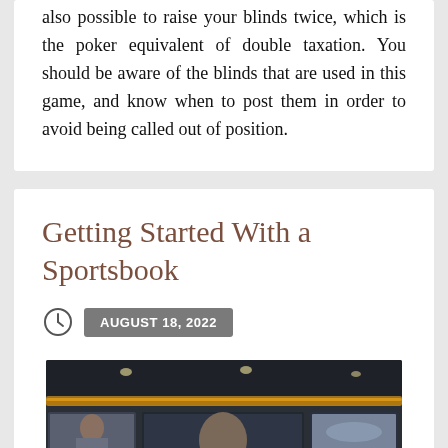also possible to raise your blinds twice, which is the poker equivalent of double taxation. You should be aware of the blinds that are used in this game, and know when to post them in order to avoid being called out of position.
Getting Started With a Sportsbook
AUGUST 18, 2022
[Figure (photo): A sportsbook interior showing a wall of TV screens displaying various sports broadcasts including basketball and other sports, with recessed lighting and a curved ceiling with an amber light strip.]